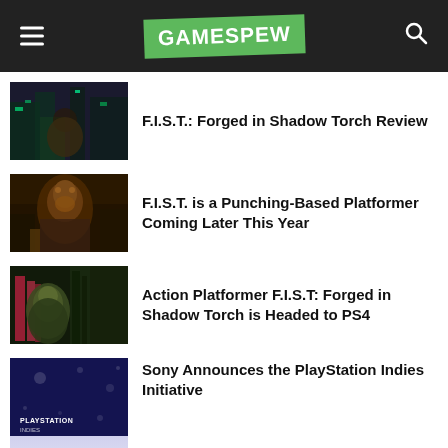GAMESPEW
F.I.S.T.: Forged in Shadow Torch Review
F.I.S.T. is a Punching-Based Platformer Coming Later This Year
Action Platformer F.I.S.T: Forged in Shadow Torch is Headed to PS4
Sony Announces the PlayStation Indies Initiative